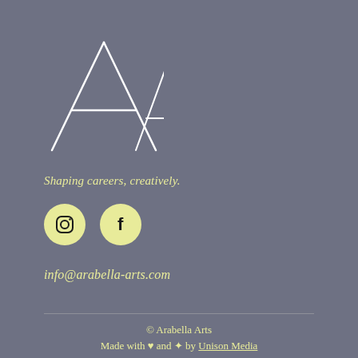[Figure (logo): Arabella Arts logo — stylized 'AA' monogram in white thin-stroke letterforms on grey background]
Shaping careers, creatively.
[Figure (infographic): Two yellow circular social media icons — Instagram and Facebook — on grey background]
info@arabella-arts.com
© Arabella Arts
Made with ♥ and ✦ by Unison Media